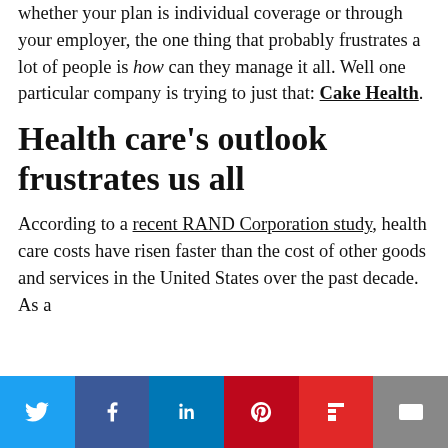whether your plan is individual coverage or through your employer, the one thing that probably frustrates a lot of people is how can they manage it all. Well one particular company is trying to just that: Cake Health.
Health care's outlook frustrates us all
According to a recent RAND Corporation study, health care costs have risen faster than the cost of other goods and services in the United States over the past decade. As a
[Figure (infographic): Social sharing bar with buttons for Twitter, Facebook, LinkedIn, Pinterest, Flipboard, and Email]